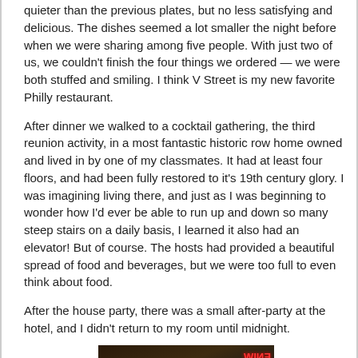quieter than the previous plates, but no less satisfying and delicious. The dishes seemed a lot smaller the night before when we were sharing among five people. With just two of us, we couldn't finish the four things we ordered — we were both stuffed and smiling. I think V Street is my new favorite Philly restaurant.
After dinner we walked to a cocktail gathering, the third reunion activity, in a most fantastic historic row home owned and lived in by one of my classmates. It had at least four floors, and had been fully restored to it's 19th century glory. I was imagining living there, and just as I was beginning to wonder how I'd ever be able to run up and down so many steep stairs on a daily basis, I learned it also had an elevator! But of course. The hosts had provided a beautiful spread of food and beverages, but we were too full to even think about food.
After the house party, there was a small after-party at the hotel, and I didn't return to my room until midnight.
[Figure (photo): Interior/exterior photo of a restaurant at night, showing neon signs (reversed text visible: WINES/PRODUCE), greenery/plants in a basket, dark atmospheric lighting with warm lamp glow, wooden bar surface visible at bottom.]